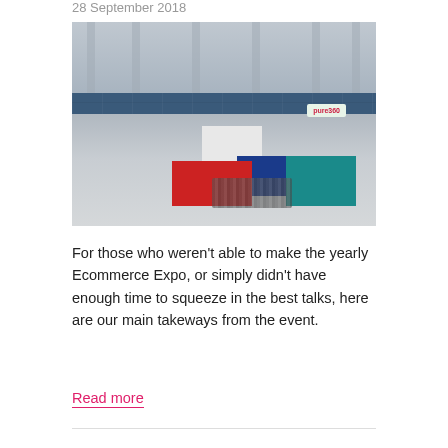28 September 2018
[Figure (photo): Aerial/overhead view of a busy Ecommerce Expo exhibition hall with multiple vendor booths including Pure360, people walking between stands, colourful signage and a large glass-roofed venue interior.]
For those who weren’t able to make the yearly Ecommerce Expo, or simply didn’t have enough time to squeeze in the best talks, here are our main takeways from the event.
Read more